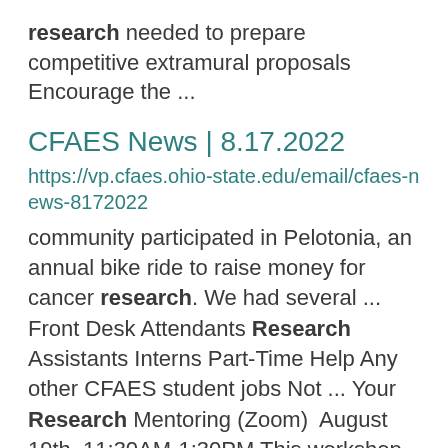research needed to prepare competitive extramural proposals Encourage the ...
CFAES News | 8.17.2022
https://vp.cfaes.ohio-state.edu/email/cfaes-news-8172022
community participated in Pelotonia, an annual bike ride to raise money for cancer research. We had several ... Front Desk Attendants Research Assistants Interns Part-Time Help Any other CFAES student jobs Not ... Your Research Mentoring (Zoom)  August 19th, 11:30AM-1:30PM This workshop is designed for faculty ...